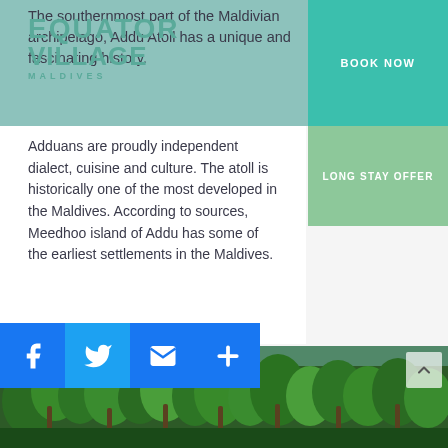[Figure (logo): Equator Village Maldives logo in teal text]
The southernmost part of the Maldivian archipelago, Addu Atoll has a unique and fascinating history.
BOOK NOW
LONG STAY OFFER
Adduans are proudly independent dialect, cuisine and culture. The atoll is historically one of the most developed in the Maldives. According to sources, Meedhoo island of Addu has some of the earliest settlements in the Maldives.
[Figure (photo): Aerial view of tropical island with lush green palm trees]
[Figure (other): Social sharing buttons: Facebook, Twitter, Email, Add]